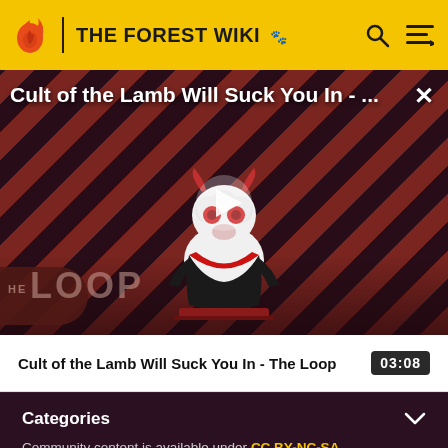THE FOREST WIKI
[Figure (screenshot): Video thumbnail for 'Cult of the Lamb Will Suck You In - ...' showing an animated lamb character with red eyes on a striped background with 'THE LOOP' logo. A play button is overlaid in the center. A close (X) button is in the top right.]
Cult of the Lamb Will Suck You In - The Loop  03:08
Categories
Community content is available under CC BY-NC-SA